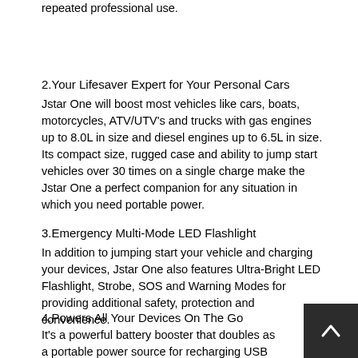repeated professional use.
2.Your Lifesaver Expert for Your Personal Cars
Jstar One will boost most vehicles like cars, boats, motorcycles, ATV/UTV's and trucks with gas engines up to 8.0L in size and diesel engines up to 6.5L in size. Its compact size, rugged case and ability to jump start vehicles over 30 times on a single charge make the Jstar One a perfect companion for any situation in which you need portable power.
3.Emergency Multi-Mode LED Flashlight
In addition to jumping start your vehicle and charging your devices, Jstar One also features Ultra-Bright LED Flashlight, Strobe, SOS and Warning Modes for providing additional safety, protection and convenience.
4.Powers All Your Devices On The Go
It's a powerful battery booster that doubles as a portable power source for recharging USB devices, like a smartphone, tablet and more, or powering 12-volt devices, like a tire inflator and much more.Shockproof dropproof,can use in rainy and snowy.Compass for your car,Make your